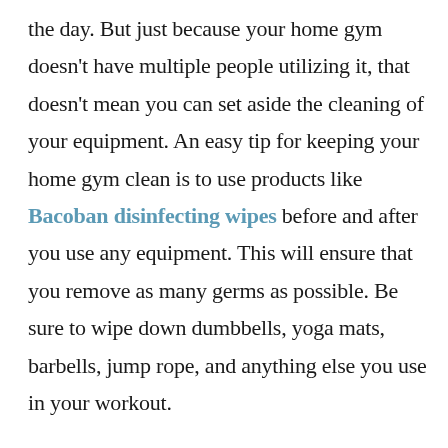the day. But just because your home gym doesn't have multiple people utilizing it, that doesn't mean you can set aside the cleaning of your equipment. An easy tip for keeping your home gym clean is to use products like Bacoban disinfecting wipes before and after you use any equipment. This will ensure that you remove as many germs as possible. Be sure to wipe down dumbbells, yoga mats, barbells, jump rope, and anything else you use in your workout.